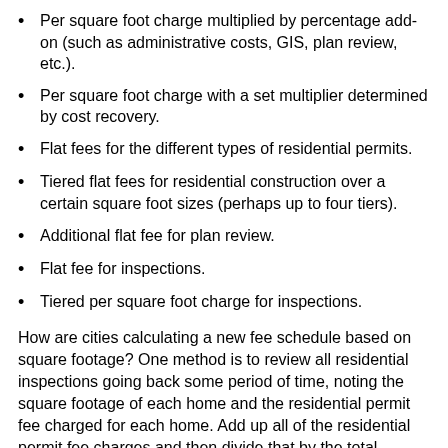Per square foot charge multiplied by percentage add-on (such as administrative costs, GIS, plan review, etc.).
Per square foot charge with a set multiplier determined by cost recovery.
Flat fees for the different types of residential permits.
Tiered flat fees for residential construction over a certain square foot sizes (perhaps up to four tiers).
Additional flat fee for plan review.
Flat fee for inspections.
Tiered per square foot charge for inspections.
How are cities calculating a new fee schedule based on square footage? One method is to review all residential inspections going back some period of time, noting the square footage of each home and the residential permit fee charged for each home. Add up all of the residential permit fee charges and then divide that by the total square feet of the homes inspected. (e.g., $2,269,472.02 dollars divided by 2,422,076 square feet = $0.66 per square foot).